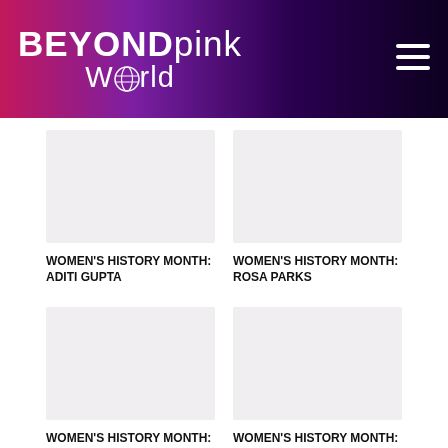BEYONDpink World
[Figure (photo): Placeholder image for Women's History Month: Aditi Gupta article]
WOMEN'S HISTORY MONTH: Aditi Gupta
[Figure (photo): Placeholder image for Women's History Month: Rosa Parks article]
WOMEN'S HISTORY MONTH: Rosa Parks
[Figure (photo): Placeholder image for Women's History Month: Kadambini article]
WOMEN'S HISTORY MONTH: Kadambini
[Figure (photo): Placeholder image for Women's History Month: Sulochanabai article]
WOMEN'S HISTORY MONTH: Sulochanabai